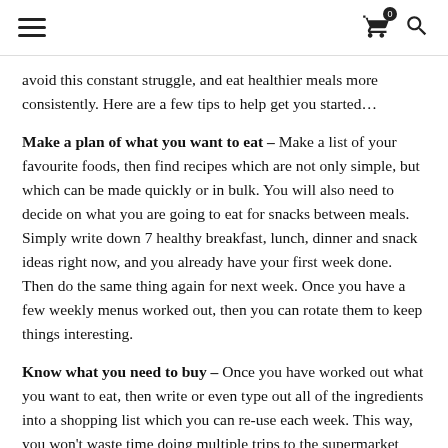≡  🛒⁰  🔍
avoid this constant struggle, and eat healthier meals more consistently. Here are a few tips to help get you started…
Make a plan of what you want to eat – Make a list of your favourite foods, then find recipes which are not only simple, but which can be made quickly or in bulk. You will also need to decide on what you are going to eat for snacks between meals. Simply write down 7 healthy breakfast, lunch, dinner and snack ideas right now, and you already have your first week done. Then do the same thing again for next week. Once you have a few weekly menus worked out, then you can rotate them to keep things interesting.
Know what you need to buy – Once you have worked out what you want to eat, then write or even type out all of the ingredients into a shopping list which you can re-use each week. This way, you won't waste time doing multiple trips to the supermarket each